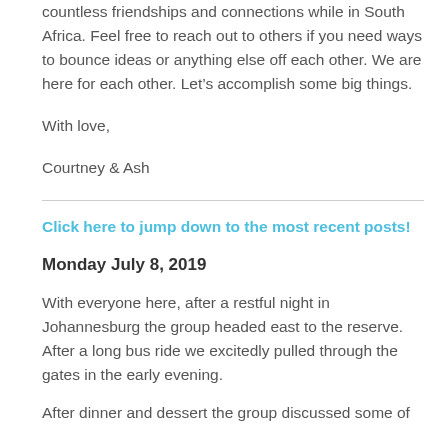countless friendships and connections while in South Africa. Feel free to reach out to others if you need ways to bounce ideas or anything else off each other. We are here for each other. Let’s accomplish some big things.
With love,
Courtney & Ash
Click here to jump down to the most recent posts!
Monday July 8, 2019
With everyone here, after a restful night in Johannesburg the group headed east to the reserve. After a long bus ride we excitedly pulled through the gates in the early evening.
After dinner and dessert the group discussed some of